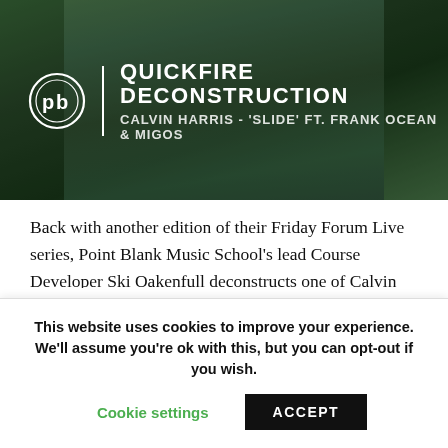[Figure (photo): Banner image showing a person with beard in outdoor setting overlaid with Point Blank logo circle and text: QUICKFIRE DECONSTRUCTION / CALVIN HARRIS - 'SLIDE' FT. FRANK OCEAN & MIGOS]
Back with another edition of their Friday Forum Live series, Point Blank Music School's lead Course Developer Ski Oakenfull deconstructs one of Calvin Harris' many earth-shattering hits from last year.
Calvin Harris teamed up with Frank Ocean and Migos
This website uses cookies to improve your experience. We'll assume you're ok with this, but you can opt-out if you wish.